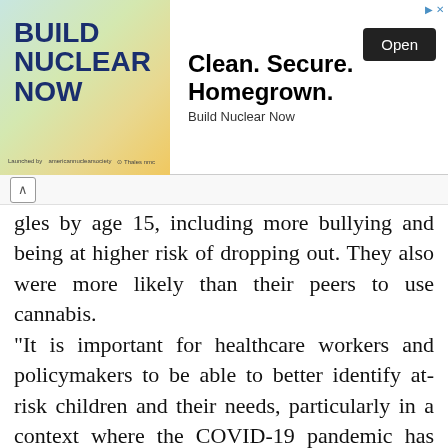[Figure (other): Advertisement banner for Build Nuclear Now — left side shows stylized text 'BUILD NUCLEAR NOW' on a gradient background; right side shows headline 'Clean. Secure. Homegrown.' with subtext 'Build Nuclear Now' and an 'Open' button.]
gles by age 15, including more bullying and being at higher risk of dropping out. They also were more likely than their peers to use cannabis.
“It is important for healthcare workers and policymakers to be able to better identify at-risk children and their needs, particularly in a context where the COVID-19 pandemic has pushed many households into situations of precarity,” says lead author Dr. Vincent Paquin, a psychiatry resident in the Faculty of Medical and Health Sciences. The research